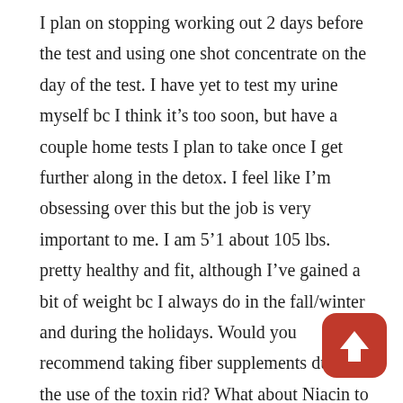I plan on stopping working out 2 days before the test and using one shot concentrate on the day of the test. I have yet to test my urine myself bc I think it's too soon, but have a couple home tests I plan to take once I get further along in the detox. I feel like I'm obsessing over this but the job is very important to me. I am 5'1 about 105 lbs. pretty healthy and fit, although I've gained a bit of weight bc I always do in the fall/winter and during the holidays. Would you recommend taking fiber supplements during the use of the toxin rid? What about Niacin to possibly speed up metabolism? How would you recommend I use the fiber powder that came in the kit? Is it necessary or should I just stick to fiber pills? I must thank you for this website and all of your detailed advice and experience on this subject. You really helped relieve my anxiety and have given me faith that I may be able to pass
[Figure (other): Red upvote button icon with white upward-pointing arrow, rounded square shape]